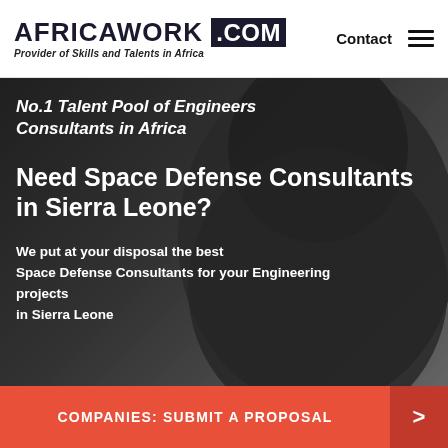AFRICAWORK .COM — Provider of Skills and Talents in Africa | Contact
No.1 Talent Pool of Engineers Consultants in Africa
Need Space Defense Consultants in Sierra Leone?
We put at your disposal the best Space Defense Consultants for your Engineering projects in Sierra Leone
COMPANIES: SUBMIT A PROPOSAL